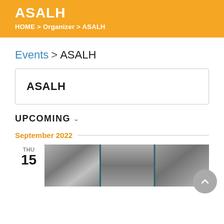ASALH
HOME > Organizer > ASALH
Events > ASALH
ASALH
UPCOMING
September 2022
THU 15
[Figure (photo): Collage of three black-and-white historical photos on a teal background: a man by bookshelves, a building with columns, and a portrait of a person]